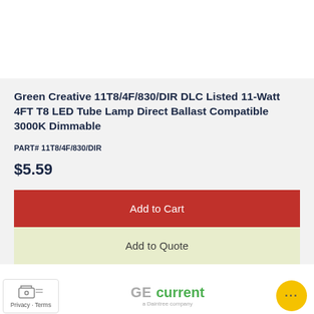Green Creative 11T8/4F/830/DIR DLC Listed 11-Watt 4FT T8 LED Tube Lamp Direct Ballast Compatible 3000K Dimmable
PART# 11T8/4F/830/DIR
$5.59
Add to Cart
Add to Quote
Privacy · Terms    GE current a Daintree company